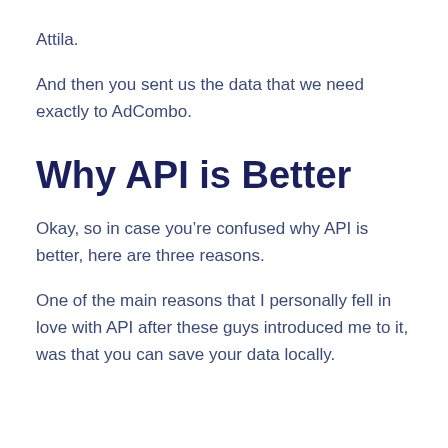Attila.
And then you sent us the data that we need exactly to AdCombo.
Why API is Better
Okay, so in case you're confused why API is better, here are three reasons.
One of the main reasons that I personally fell in love with API after these guys introduced me to it, was that you can save your data locally.